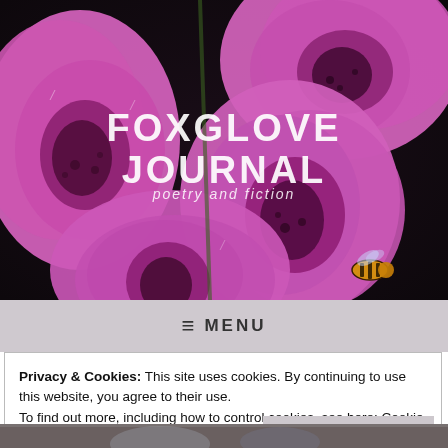[Figure (photo): Close-up photograph of pink/purple foxglove flowers (Digitalis) with a bee visible, against a dark background. The flowers are large, tubular, and magenta-pink in color.]
FOXGLOVE JOURNAL
poetry and fiction
≡ MENU
Privacy & Cookies: This site uses cookies. By continuing to use this website, you agree to their use.
To find out more, including how to control cookies, see here: Cookie Policy
Close and accept
[Figure (photo): Partial view of an image at the bottom of the page, appears dark/grey.]